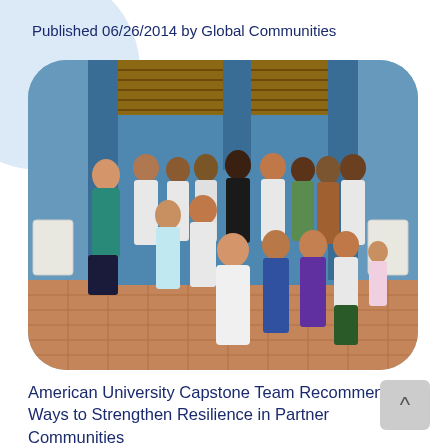Published 06/26/2014 by Global Communities
[Figure (photo): Group photo of approximately 25 people standing and kneeling in front of a blue-columned open-air structure with a thatched roof. The group appears to be in a tropical location. One woman in a teal top stands on the left, others wear casual and semi-formal attire. Four people kneel in the front row.]
American University Capstone Team Recommends Ways to Strengthen Resilience in Partner Communities